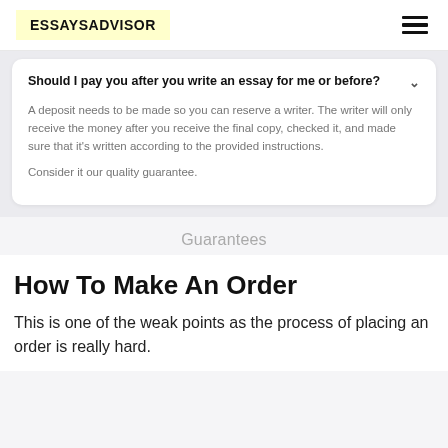ESSAYSADVISOR
Should I pay you after you write an essay for me or before?
A deposit needs to be made so you can reserve a writer. The writer will only receive the money after you receive the final copy, checked it, and made sure that it's written according to the provided instructions.
Consider it our quality guarantee.
Guarantees
How To Make An Order
This is one of the weak points as the process of placing an order is really hard.